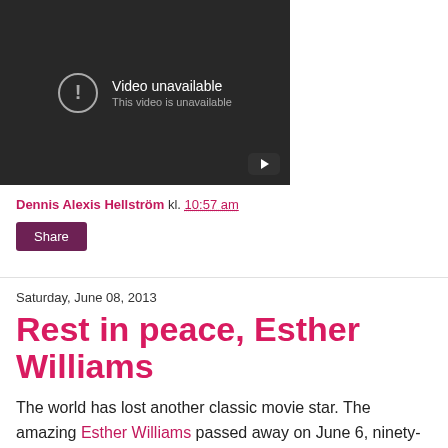[Figure (screenshot): YouTube video embed showing 'Video unavailable — This video is unavailable' error screen with a play button icon in the bottom right corner.]
Dennis Alexis Hellström kl. 10:57 am
Share
Saturday, June 08, 2013
Rest in peace, Esther Williams
The world has lost another classic movie star. The amazing Esther Williams passed away on June 6, ninety-one years old. She started out as a competitive swimmer and later